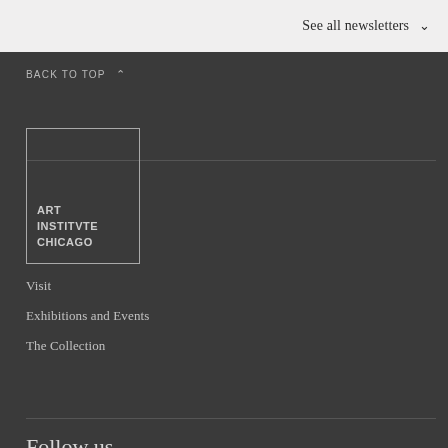See all newsletters ∨
BACK TO TOP ∧
[Figure (logo): Art Institute Chicago logo — white outlined rectangle with text ART INSTITVTE CHICAGO]
Visit
Exhibitions and Events
The Collection
Follow us
Facebook